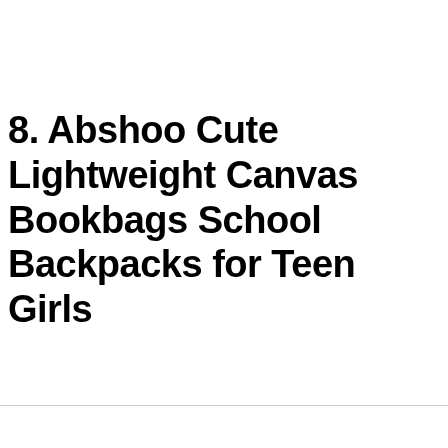8. Abshoo Cute Lightweight Canvas Bookbags School Backpacks for Teen Girls